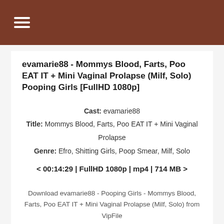≡
evamarie88 - Mommys Blood, Farts, Poo EAT IT + Mini Vaginal Prolapse (Milf, Solo) Pooping Girls [FullHD 1080p]
Cast: evamarie88
Title: Mommys Blood, Farts, Poo EAT IT + Mini Vaginal Prolapse
Genre: Efro, Shitting Girls, Poop Smear, Milf, Solo
< 00:14:29 | FullHD 1080p | mp4 | 714 MB >
Download evamarie88 - Pooping Girls - Mommys Blood, Farts, Poo EAT IT + Mini Vaginal Prolapse (Milf, Solo) from VipFile